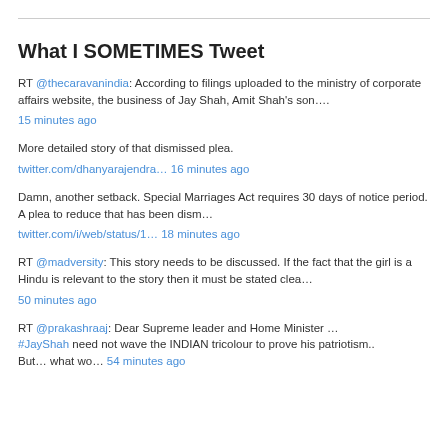What I SOMETIMES Tweet
RT @thecaravanindia: According to filings uploaded to the ministry of corporate affairs website, the business of Jay Shah, Amit Shah's son….
15 minutes ago
More detailed story of that dismissed plea.
twitter.com/dhanyarajendra… 16 minutes ago
Damn, another setback. Special Marriages Act requires 30 days of notice period. A plea to reduce that has been dism…
twitter.com/i/web/status/1… 18 minutes ago
RT @madversity: This story needs to be discussed. If the fact that the girl is a Hindu is relevant to the story then it must be stated clea…
50 minutes ago
RT @prakashraaj: Dear Supreme leader and Home Minister … #JayShah need not wave the INDIAN tricolour to prove his patriotism.. But… what wo… 54 minutes ago